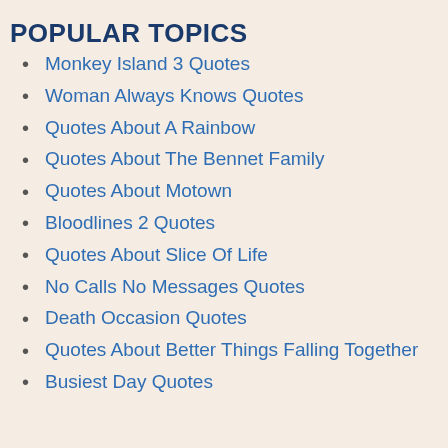POPULAR TOPICS
Monkey Island 3 Quotes
Woman Always Knows Quotes
Quotes About A Rainbow
Quotes About The Bennet Family
Quotes About Motown
Bloodlines 2 Quotes
Quotes About Slice Of Life
No Calls No Messages Quotes
Death Occasion Quotes
Quotes About Better Things Falling Together
Busiest Day Quotes